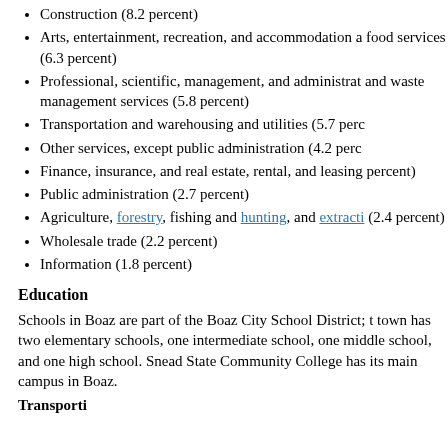Construction (8.2 percent)
Arts, entertainment, recreation, and accommodation and food services (6.3 percent)
Professional, scientific, management, and administrative and waste management services (5.8 percent)
Transportation and warehousing and utilities (5.7 percent)
Other services, except public administration (4.2 percent)
Finance, insurance, and real estate, rental, and leasing (percent)
Public administration (2.7 percent)
Agriculture, forestry, fishing and hunting, and extraction (2.4 percent)
Wholesale trade (2.2 percent)
Information (1.8 percent)
Education
Schools in Boaz are part of the Boaz City School District; the town has two elementary schools, one intermediate school, one middle school, and one high school. Snead State Community College has its main campus in Boaz.
Transportation